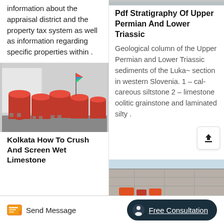information about the appraisal district and the property tax system as well as information regarding specific properties within .
[Figure (photo): Row of large red industrial crushing/grinding machines parked outdoors with a flag in background]
Kolkata How To Crush And Screen Wet Limestone
[Figure (photo): Top portion - partially visible image similar to machinery scene]
Pdf Stratigraphy Of Upper Permian And Lower Triassic
Geological column of the Upper Permian and Lower Triassic sediments of the Luka~ section in western Slovenia. 1 – cal- careous siltstone 2 – limestone oolitic grainstone and laminated silty .
[Figure (photo): Industrial machinery/concrete structure with orange equipment visible at bottom]
Send Message   Free Consultation